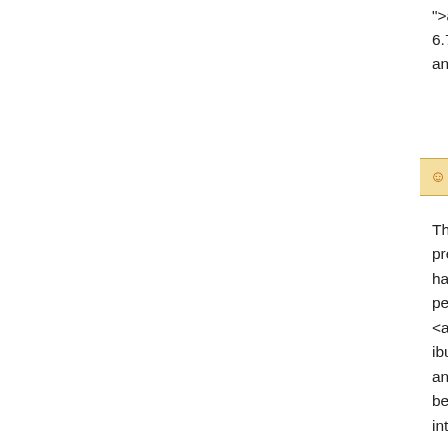">accutane long term birth defects</a> Amor 6.7 percent of shares, while Rizvi Traverse M and DST Global are each shareholders of 5 p
☺ Wilson
The National Gallery <a href=" http://www.bo precio</a> As in much of the United States, w has increased in Colorado over the past deca percent above the same period in 2012, to 1( <a href=" http://www.gracemusing.com/ibupr ibuprofen while on fluoxetine</a> "Whereas p and just something to try once which they ha because they want to know what is in their fo interest is great. People want to be engaged
☺ Burton
There's a three month trial period <a href=" h to-lexapro.pdf ">trazodone topamax and lexa easy to criticize any particular system of com but the onus falls on someone to suggest a b salespeople commission solely on their own help each other and act like competitors rath